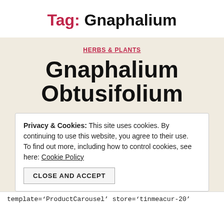Tag: Gnaphalium
HERBS & PLANTS
Gnaphalium Obtusifolium
Privacy & Cookies: This site uses cookies. By continuing to use this website, you agree to their use. To find out more, including how to control cookies, see here: Cookie Policy
CLOSE AND ACCEPT
template='ProductCarousel' store='tinmeacur-20'